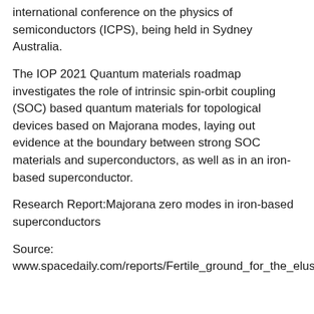international conference on the physics of semiconductors (ICPS), being held in Sydney Australia.
The IOP 2021 Quantum materials roadmap investigates the role of intrinsic spin-orbit coupling (SOC) based quantum materials for topological devices based on Majorana modes, laying out evidence at the boundary between strong SOC materials and superconductors, as well as in an iron-based superconductor.
Research Report:Majorana zero modes in iron-based superconductors
Source: www.spacedaily.com/reports/Fertile_ground_for_the_elusive_Majorana_angel_particle_999.html